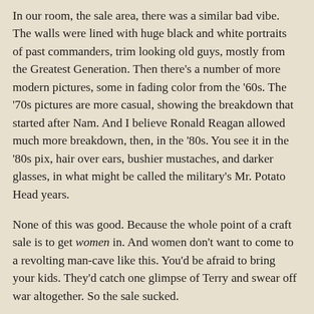In our room, the sale area, there was a similar bad vibe. The walls were lined with huge black and white portraits of past commanders, trim looking old guys, mostly from the Greatest Generation. Then there's a number of more modern pictures, some in fading color from the '60s. The '70s pictures are more casual, showing the breakdown that started after Nam. And I believe Ronald Reagan allowed much more breakdown, then, in the '80s. You see it in the '80s pix, hair over ears, bushier mustaches, and darker glasses, in what might be called the military's Mr. Potato Head years.
None of this was good. Because the whole point of a craft sale is to get women in. And women don't want to come to a revolting man-cave like this. You'd be afraid to bring your kids. They'd catch one glimpse of Terry and swear off war altogether. So the sale sucked.
I had plenty of time to look around. I and some of the other crafters -- we're usually complaining about something -- could do nothing but shake our heads and laugh. Once you see you're not going to make money no matter what, that's